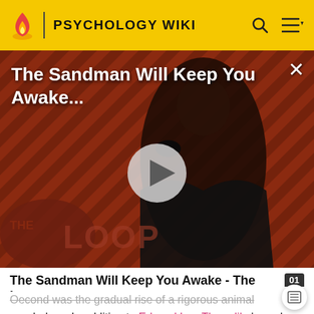PSYCHOLOGY WIKI
[Figure (screenshot): Video thumbnail for 'The Sandman Will Keep You Awake...' showing a dark-cloaked figure against a red diagonal striped background, with a play button in the center and 'THE LOOP' text at bottom left]
The Sandman Will Keep You Awake - The Loop
Oecond was the gradual rise of a rigorous animal psychology. In addition to Edward Lee Thorndike's work with cats in puzzle boxes in 1898, the start of research in which rats learn to navigate mazes was begun by Willard